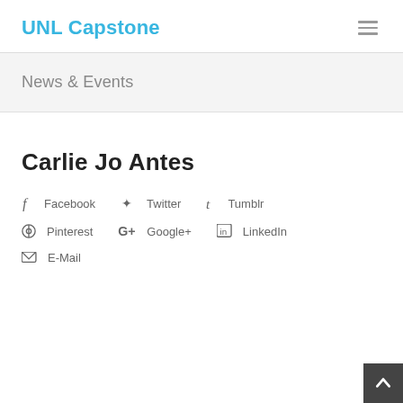UNL Capstone
News & Events
Carlie Jo Antes
Facebook
Twitter
Tumblr
Pinterest
Google+
LinkedIn
E-Mail